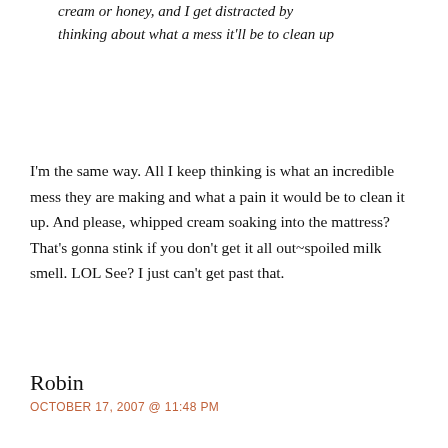cream or honey, and I get distracted by thinking about what a mess it'll be to clean up
I'm the same way. All I keep thinking is what an incredible mess they are making and what a pain it would be to clean it up. And please, whipped cream soaking into the mattress? That's gonna stink if you don't get it all out~spoiled milk smell. LOL See? I just can't get past that.
Robin
OCTOBER 17, 2007 @ 11:48 PM